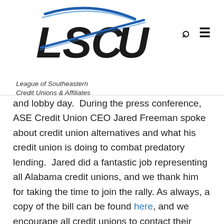[Figure (logo): LSCU League of Southeastern Credit Unions & Affiliates logo with blue swoosh graphic and italic tagline text]
and lobby day. During the press conference, ASE Credit Union CEO Jared Freeman spoke about credit union alternatives and what his credit union is doing to combat predatory lending. Jared did a fantastic job representing all Alabama credit unions, and we thank him for taking the time to join the rally. As always, a copy of the bill can be found here, and we encourage all credit unions to contact their Senators and ask them to support SB 138.
Also last week, HB 316 by Rep. Mack Butler was introduced and is a piece of legislation that makes